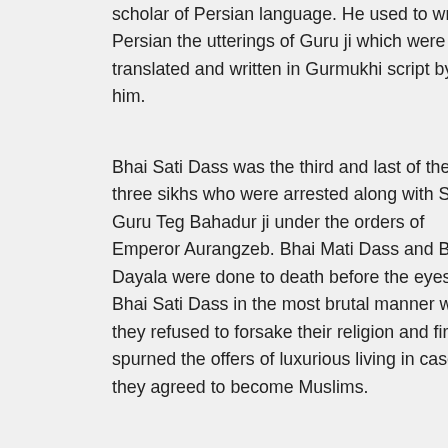scholar of Persian language. He used to write in Persian the utterings of Guru ji which were later translated and written in Gurmukhi script by him.
Bhai Sati Dass was the third and last of the three sikhs who were arrested along with Sri Guru Teg Bahadur ji under the orders of Emperor Aurangzeb. Bhai Mati Dass and Bhai Dayala were done to death before the eyes of Bhai Sati Dass in the most brutal manner when they refused to forsake their religion and firmly spurned the offers of luxurious living in case they agreed to become Muslims.
The most commendable manner in which both his companions laid down their lives inspired Bhai Sati Dass to face the cruel Kazis with courage determination and fortitude.
In their effort to instil fear in the heart of Sri Guru Teg Bahadur Sahib Bhai Sati Dass was brought out in the open at Chandni Chowk with hands and legs bounded